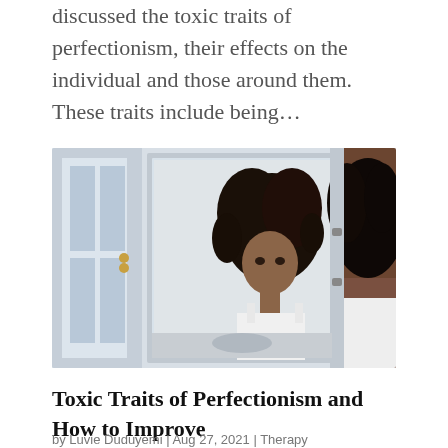discussed the toxic traits of perfectionism, their effects on the individual and those around them. These traits include being...
[Figure (photo): A young Black woman with curly hair wearing a white tank top, looking at her reflection in a bathroom mirror. The image shows both the woman from behind and her reflection in the mirror.]
Toxic Traits of Perfectionism and How to Improve
by Luvie Duduyemi | Aug 27, 2021 | Therapy